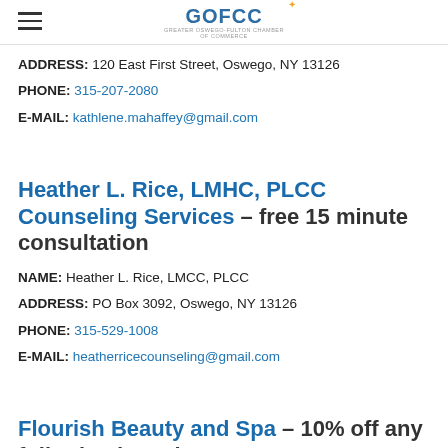GOFCC
ADDRESS: 120 East First Street, Oswego, NY 13126
PHONE: 315-207-2080
E-MAIL: kathlene.mahaffey@gmail.com
Heather L. Rice, LMHC, PLCC Counseling Services – free 15 minute consultation
NAME: Heather L. Rice, LMCC, PLCC
ADDRESS: PO Box 3092, Oswego, NY 13126
PHONE: 315-529-1008
E-MAIL: heatherricecounseling@gmail.com
Flourish Beauty and Spa – 10% off any full priced service
NAME: Ashley Pritchard
ADDRESS: 3 4th Ave, Oswego, NY 13126